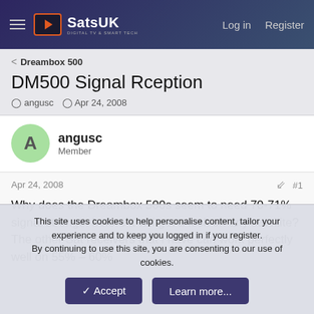SatsUK — Log in   Register
< Dreambox 500
DM500 Signal Rception
angusc · Apr 24, 2008
angusc
Member
Apr 24, 2008   #1
Why does the Dreambox 500s seem to need 70-71% signal strength before it will get a lock on any satellite? The other Sat receivers that i have can work perfectly well on 55% - 60%
This site uses cookies to help personalise content, tailor your experience and to keep you logged in if you register.
By continuing to use this site, you are consenting to our use of cookies.
Accept   Learn more...